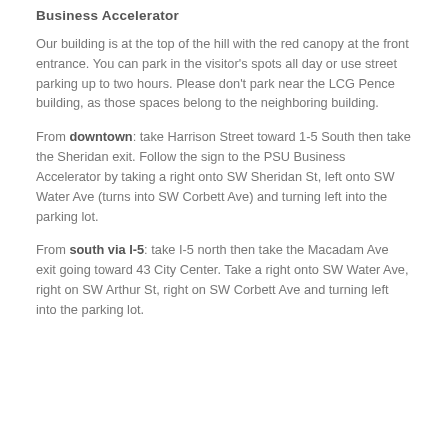Business Accelerator
Our building is at the top of the hill with the red canopy at the front entrance. You can park in the visitor's spots all day or use street parking up to two hours. Please don't park near the LCG Pence building, as those spaces belong to the neighboring building.
From downtown: take Harrison Street toward 1-5 South then take the Sheridan exit. Follow the sign to the PSU Business Accelerator by taking a right onto SW Sheridan St, left onto SW Water Ave (turns into SW Corbett Ave) and turning left into the parking lot.
From south via I-5: take I-5 north then take the Macadam Ave exit going toward 43 City Center. Take a right onto SW Water Ave, right on SW Arthur St, right on SW Corbett Ave and turning left into the parking lot.